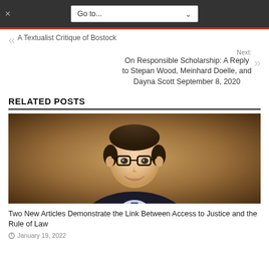Go to...
A Textualist Critique of Bostock
Next: On Responsible Scholarship: A Reply to Stepan Wood, Meinhard Doelle, and Dayna Scott September 8, 2020
RELATED POSTS
[Figure (photo): Portrait photo of a man wearing glasses and a dark suit with a tie, smiling slightly, against a warm brown background.]
Two New Articles Demonstrate the Link Between Access to Justice and the Rule of Law
January 19, 2022